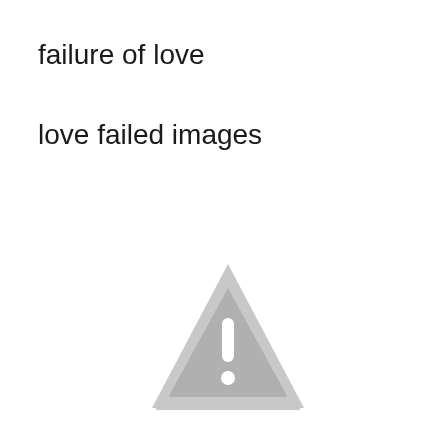failure of love
love failed images
[Figure (other): A grey warning/caution triangle icon with an exclamation mark inside, indicating a failed image or error state.]